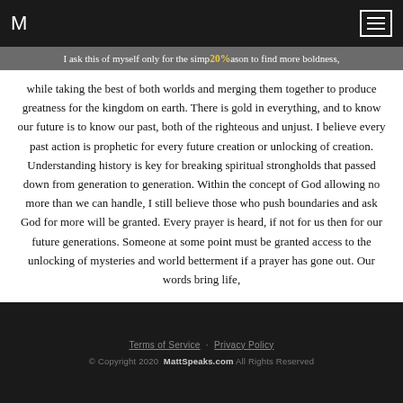M [logo] | [menu icon]
I ask this of myself only for the simple reason to find more boldness, while taking the best of both worlds and merging them together to produce greatness for the kingdom on earth. There is gold in everything, and to know our future is to know our past, both of the righteous and unjust. I believe every past action is prophetic for every future creation or unlocking of creation. Understanding history is key for breaking spiritual strongholds that passed down from generation to generation. Within the concept of God allowing no more than we can handle, I still believe those who push boundaries and ask God for more will be granted. Every prayer is heard, if not for us then for our future generations. Someone at some point must be granted access to the unlocking of mysteries and world betterment if a prayer has gone out. Our words bring life,
Terms of Service · Privacy Policy
© Copyright 2020  MattSpeaks.com All Rights Reserved